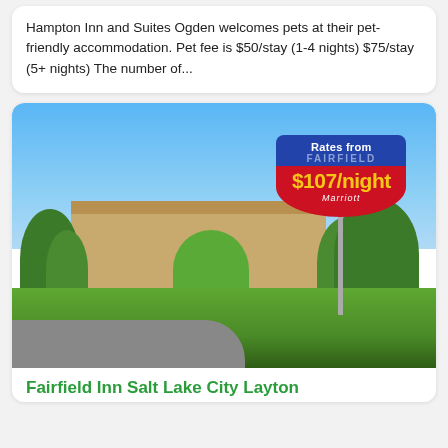Hampton Inn and Suites Ogden welcomes pets at their pet-friendly accommodation. Pet fee is $50/stay (1-4 nights) $75/stay (5+ nights) The number of...
[Figure (photo): Exterior photo of Fairfield Inn Salt Lake City Layton with hotel signage showing rates from $107/night, blue sky, green trees, and hotel building visible]
Fairfield Inn Salt Lake City Layton